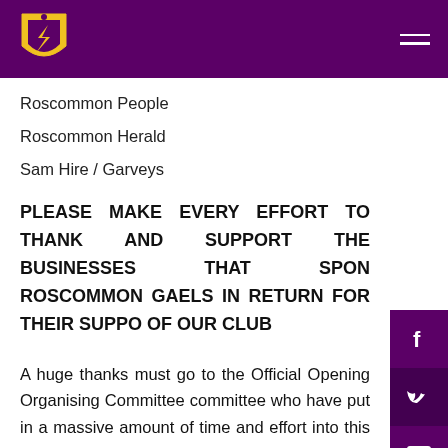Roscommon Gaels GAA Club
Roscommon People
Roscommon Herald
Sam Hire / Garveys
PLEASE MAKE EVERY EFFORT TO THANK AND SUPPORT THE BUSINESSES THAT SPONSOR ROSCOMMON GAELS IN RETURN FOR THEIR SUPPORT OF OUR CLUB
A huge thanks must go to the Official Opening Organising Committee committee who have put in a massive amount of time and effort into this event– Sinead Killeen, Niamh Kilmartin, Yvonne Donoghue, Shelly Hughes, Walsh, Finbar O'Reilly, Hughie Waters